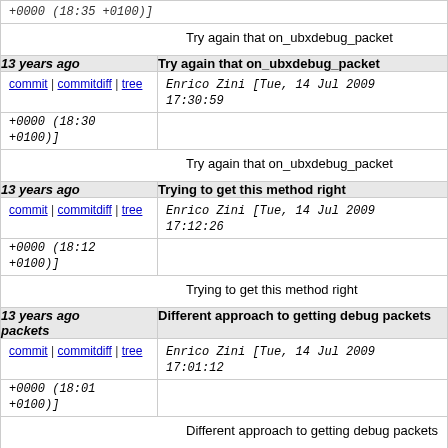+0000 (18:35 +0100)]
Try again that on_ubxdebug_packet
| 13 years ago | Try again that on_ubxdebug_packet |
| commit | commitdiff | tree | Enrico Zini [Tue, 14 Jul 2009 17:30:59 +0000 (18:30 +0100)] |
|  | Try again that on_ubxdebug_packet |
| 13 years ago | Trying to get this method right |
| commit | commitdiff | tree | Enrico Zini [Tue, 14 Jul 2009 17:12:26 +0000 (18:12 +0100)] |
|  | Trying to get this method right |
| 13 years ago | Different approach to getting debug packets |
| commit | commitdiff | tree | Enrico Zini [Tue, 14 Jul 2009 17:01:12 +0000 (18:01 +0100)] |
|  | Different approach to getting debug packets |
| 13 years ago | Even more debugging |